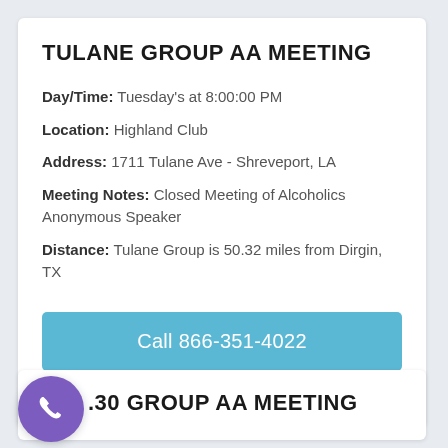TULANE GROUP AA MEETING
Day/Time: Tuesday's at 8:00:00 PM
Location: Highland Club
Address: 1711 Tulane Ave - Shreveport, LA
Meeting Notes: Closed Meeting of Alcoholics Anonymous Speaker
Distance: Tulane Group is 50.32 miles from Dirgin, TX
Call 866-351-4022
Free confidential helpline.
.30 GROUP AA MEETING